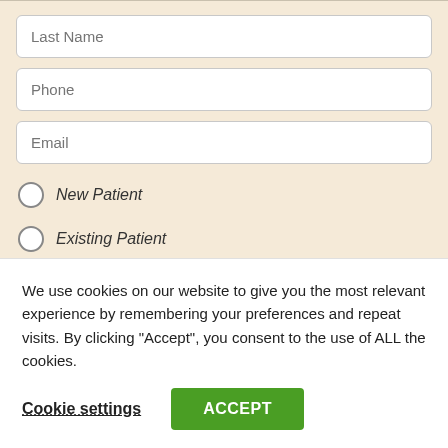Last Name (input field)
Phone (input field)
Email (input field)
New Patient (radio button)
Existing Patient (radio button)
Location preference (dropdown)
We use cookies on our website to give you the most relevant experience by remembering your preferences and repeat visits. By clicking “Accept”, you consent to the use of ALL the cookies.
Cookie settings
ACCEPT